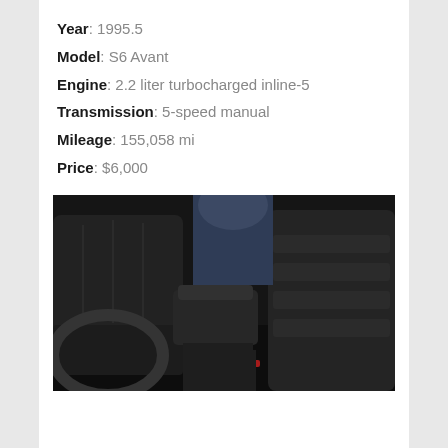Year: 1995.5
Model: S6 Avant
Engine: 2.2 liter turbocharged inline-5
Transmission: 5-speed manual
Mileage: 155,058 mi
Price: $6,000
[Figure (photo): Interior photo of a car showing black leather seats, center console armrest, and dashboard of what appears to be an Audi S6 Avant]